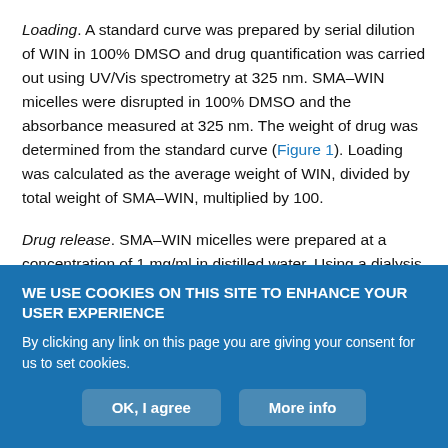Loading. A standard curve was prepared by serial dilution of WIN in 100% DMSO and drug quantification was carried out using UV/Vis spectrometry at 325 nm. SMA–WIN micelles were disrupted in 100% DMSO and the absorbance measured at 325 nm. The weight of drug was determined from the standard curve (Figure 1). Loading was calculated as the average weight of WIN, divided by total weight of SMA–WIN, multiplied by 100.
Drug release. SMA–WIN micelles were prepared at a concentration of 1 mg/ml in distilled water. Using a dialysis bag with a 12-kDa molecular weight cut-off, 1.5 ml of SMA–WIN solution was dialyzed
WE USE COOKIES ON THIS SITE TO ENHANCE YOUR USER EXPERIENCE
By clicking any link on this page you are giving your consent for us to set cookies.